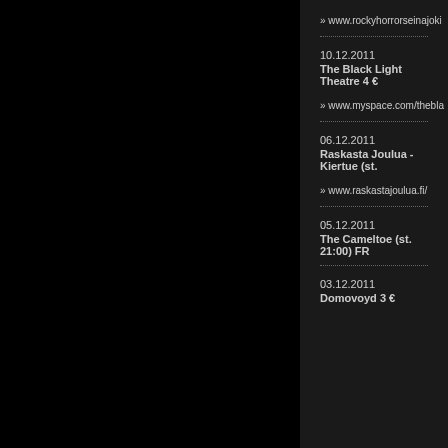» www.rockyhorrorseinajoki
10.12.2011
The Black Light Theatre 4 €
» www.myspace.com/thebla
06.12.2011
Raskasta Joulua -Kiertue (st.
» www.raskastajoulua.fi/
05.12.2011
The Cameltoe (st. 21:00) FR
03.12.2011
Domovoyd 3 €